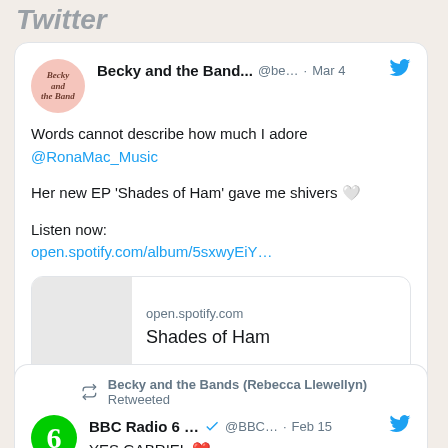Twitter
[Figure (screenshot): Tweet from Becky and the Band... (@be...) on Mar 4. Text: Words cannot describe how much I adore @RonaMac_Music. Her new EP 'Shades of Ham' gave me shivers 🤍. Listen now: open.spotify.com/album/5sxwyEiY... with Spotify card showing open.spotify.com and Shades of Ham. Actions: 1 reply, 3 likes.]
[Figure (screenshot): Becky and the Bands (Rebecca Llewellyn) Retweeted. BBC Radio 6 ... (verified) @BBC... Feb 15. YES GABRIEL ❤️]